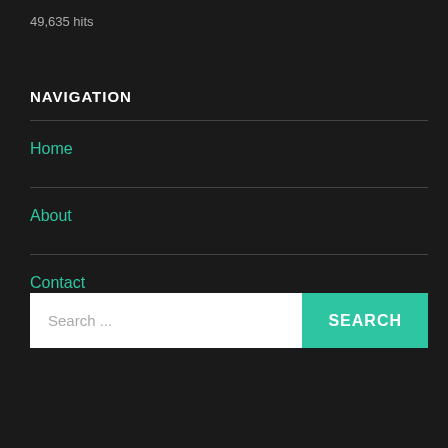49,635 hits
NAVIGATION
Home
About
Contact
Search ...